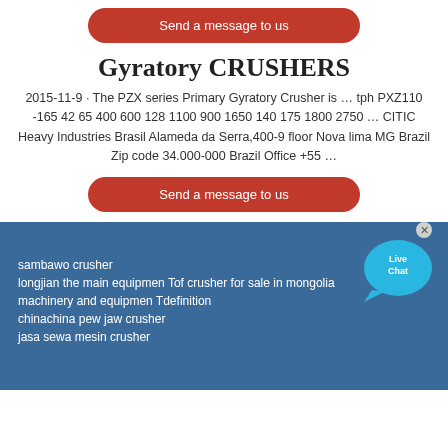Send a message to us
Gyratory CRUSHERS
2015-11-9 · The PZX series Primary Gyratory Crusher is … tph PXZ110 -165 42 65 400 600 128 1100 900 1650 140 175 1800 2750 … CITIC Heavy Industries Brasil Alameda da Serra,400-9 floor Nova lima MG Brazil Zip code 34.000-000 Brazil Office +55 …
[Figure (illustration): Live Chat speech bubble badge with close X button]
Send a message to us
sambawo crusher
longjian the main equipmen Tof crusher for sale in mongolia
machinery and equipmen Tdefinition
chinachina pew jaw crusher
jasa sewa mesin crusher